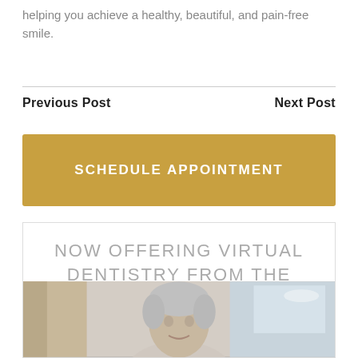helping you achieve a healthy, beautiful, and pain-free smile.
Previous Post
Next Post
SCHEDULE APPOINTMENT
NOW OFFERING VIRTUAL DENTISTRY FROM THE COMFORT OF YOUR LIVINGROOM!
[Figure (photo): Older person with gray/white hair photographed in an indoor setting, appears to be a dental or medical context]